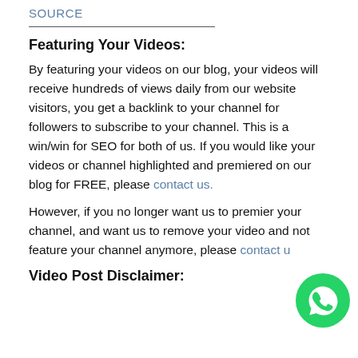SOURCE
Featuring Your Videos:
By featuring your videos on our blog, your videos will receive hundreds of views daily from our website visitors, you get a backlink to your channel for followers to subscribe to your channel. This is a win/win for SEO for both of us. If you would like your videos or channel highlighted and premiered on our blog for FREE, please contact us.
However, if you no longer want us to premier your channel, and want us to remove your video and not feature your channel anymore, please contact us
Video Post Disclaimer:
[Figure (logo): WhatsApp green phone icon circle button]